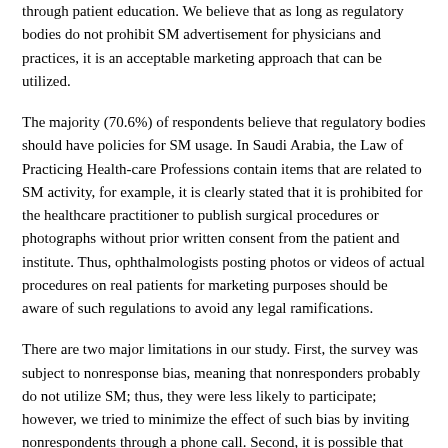through patient education. We believe that as long as regulatory bodies do not prohibit SM advertisement for physicians and practices, it is an acceptable marketing approach that can be utilized.
The majority (70.6%) of respondents believe that regulatory bodies should have policies for SM usage. In Saudi Arabia, the Law of Practicing Health-care Professions contain items that are related to SM activity, for example, it is clearly stated that it is prohibited for the healthcare practitioner to publish surgical procedures or photographs without prior written consent from the patient and institute. Thus, ophthalmologists posting photos or videos of actual procedures on real patients for marketing purposes should be aware of such regulations to avoid any legal ramifications.
There are two major limitations in our study. First, the survey was subject to nonresponse bias, meaning that nonresponders probably do not utilize SM; thus, they were less likely to participate; however, we tried to minimize the effect of such bias by inviting nonrespondents through a phone call. Second, it is possible that responses to sensitive questions such as using SM for marketing or the negative impact of SM on respondents were subject to reporting bias.